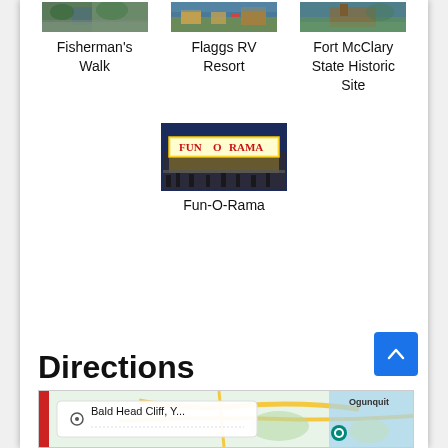[Figure (photo): Thumbnail image of Fisherman's Walk]
Fisherman's Walk
[Figure (photo): Thumbnail image of Flaggs RV Resort]
Flaggs RV Resort
[Figure (photo): Thumbnail image of Fort McClary State Historic Site]
Fort McClary State Historic Site
[Figure (photo): Photo of Fun-O-Rama building exterior at night with illuminated sign]
Fun-O-Rama
Directions
[Figure (map): Map preview showing Bald Head Cliff, Y... location near Ogunquit]